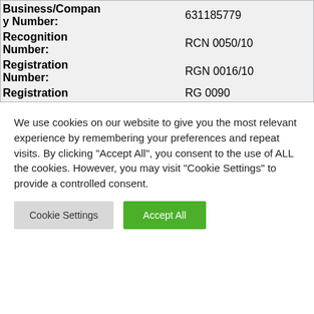| Field | Value |
| --- | --- |
| Business/Company Number: | 631185779 |
| Recognition Number: | RCN 0050/10 |
| Registration Number: | RGN 0016/10 |
| Registration | RG 0090 |
We use cookies on our website to give you the most relevant experience by remembering your preferences and repeat visits. By clicking "Accept All", you consent to the use of ALL the cookies. However, you may visit "Cookie Settings" to provide a controlled consent.